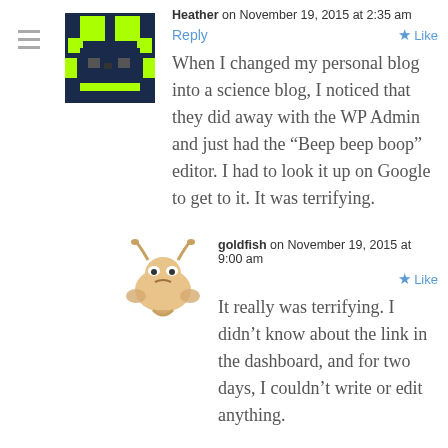[Figure (illustration): Pixel art avatar icon with dark blue/green robot-like character]
Heather on November 19, 2015 at 2:35 am
Reply
Like
When I changed my personal blog into a science blog, I noticed that they did away with the WP Admin and just had the “Beep beep boop” editor. I had to look it up on Google to get to it. It was terrifying.
[Figure (illustration): Cartoon goldfish character avatar with orange/tan coloring and horns]
goldfish on November 19, 2015 at 9:00 am
Like
It really was terrifying. I didn’t know about the link in the dashboard, and for two days, I couldn’t write or edit anything.